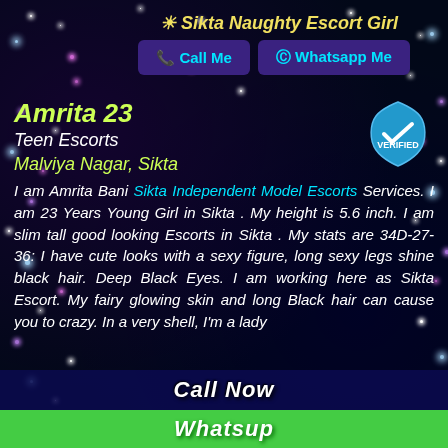⚙ Sikta Naughty Escort Girl
📞 Call Me   💬 Whatsapp Me
Amrita 23
Teen Escorts
Malviya Nagar, Sikta
I am Amrita Bani Sikta Independent Model Escorts Services. I am 23 Years Young Girl in Sikta . My height is 5.6 inch. I am slim tall good looking Escorts in Sikta . My stats are 34D-27-36: I have cute looks with a sexy figure, long sexy legs shine black hair. Deep Black Eyes. I am working here as Sikta Escort. My fairy glowing skin and long Black hair can cause you to crazy. In a very shell, I'm a lady
Call Now
Whatsup